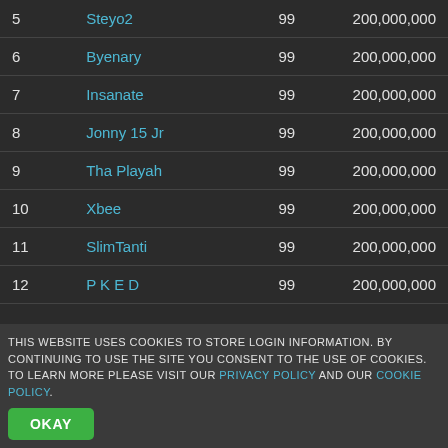| # | Name | Level | Score |
| --- | --- | --- | --- |
| 5 | Steyo2 | 99 | 200,000,000 |
| 6 | Byenary | 99 | 200,000,000 |
| 7 | Insanate | 99 | 200,000,000 |
| 8 | Jonny 15 Jr | 99 | 200,000,000 |
| 9 | Tha Playah | 99 | 200,000,000 |
| 10 | Xbee | 99 | 200,000,000 |
| 11 | SlimTanti | 99 | 200,000,000 |
| 12 | P K E D | 99 | 200,000,000 |
This website uses cookies to store login information. By continuing to use the site you consent to the use of cookies. To learn more please visit our PRIVACY POLICY and our COOKIE POLICY.